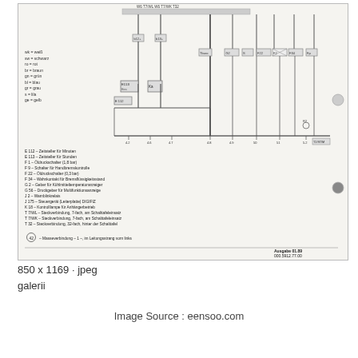[Figure (schematic): Automotive wiring diagram (German VW/Audi schematic) showing instrument cluster connections. Components include E112 (Zeitsteller für Minuten), E113 (Zeitsteller für Stunden), F1 (Öldruckschalter 1.8 bar), F9 (Schalter für Handbremskontrolle), F22 (Öldruckschalter 0.3 bar), F34 (Wahnkontakt für Bremsflüssigkeitsstand), G2 (Geber für Kühlmitteltemperaturanzeiger), G56 (Druckgeber für Multifunktionsanzeige), J2 (Warnblinkrelais), J175 (Steuergerät Leiterplatte DIGIFIZ), K18 (Kontrolllampe für Anhängerbetrieb), T7/WL, T7/WK, T32. Color legend: wk=weiß, sw=schwarz, ro=rot, br=braun, gn=grün, bl=blau, gr=grau, s=lila, ge=gelb. Ausgabe 01.89, 000.5912.77.00]
850 x 1169 · jpeg
galerii
Image Source : eensoo.com